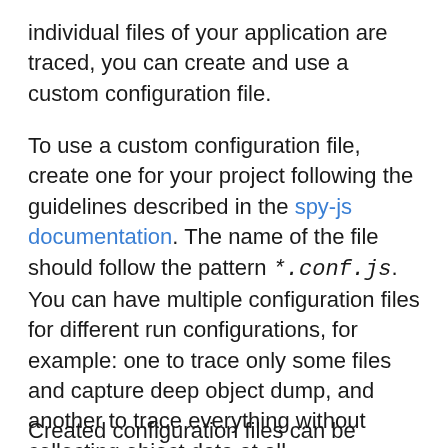individual files of your application are traced, you can create and use a custom configuration file.
To use a custom configuration file, create one for your project following the guidelines described in the spy-js documentation. The name of the file should follow the pattern *.conf.js. You can have multiple configuration files for different run configurations, for example: one to trace only some files and capture deep object dump, and another to trace everything without collecting object data at all.
Created configuration files can be